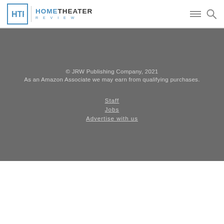[Figure (logo): Home Theater Review logo with HTR monogram in blue square bracket box and stylized text]
© JRW Publishing Company, 2021
As an Amazon Associate we may earn from qualifying purchases.
Staff
Jobs
Advertise with us